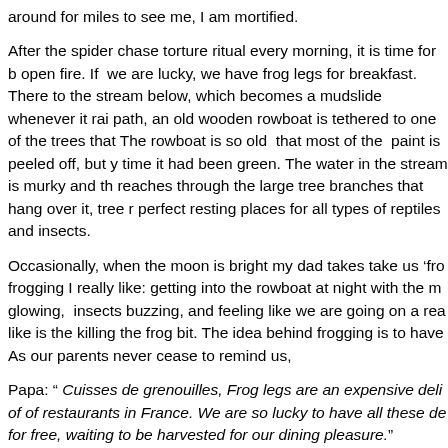around for miles to see me, I am mortified.
After the spider chase torture ritual every morning, it is time for b open fire. If we are lucky, we have frog legs for breakfast. There to the stream below, which becomes a mudslide whenever it rai path, an old wooden rowboat is tethered to one of the trees that The rowboat is so old that most of the paint is peeled off, but y time it had been green. The water in the stream is murky and th reaches through the large tree branches that hang over it, tree r perfect resting places for all types of reptiles and insects.
Occasionally, when the moon is bright my dad takes take us 'fro frogging I really like: getting into the rowboat at night with the m glowing, insects buzzing, and feeling like we are going on a rea like is the killing the frog bit. The idea behind frogging is to have As our parents never cease to remind us,
Papa: “ Cuisses de grenouilles, Frog legs are an expensive deli of of restaurants in France. We are so lucky to have all these de for free, waiting to be harvested for our dining pleasure.”